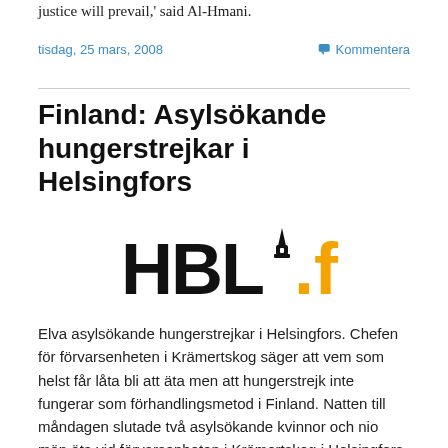justice will prevail,' said Al-Hmani.
tisdag, 25 mars, 2008
Kommentera
Finland: Asylsökande hungerstrejkar i Helsingfors
[Figure (logo): HBL.fi logo — black bold text 'HBL' with a church spire dot, followed by '.fi' in orange]
Elva asylsökande hungerstrejkar i Helsingfors. Chefen för förvarsenheten i Krämertskog säger att vem som helst får låta bli att äta men att hungerstrejk inte fungerar som förhandlingsmetod i Finland. Natten till måndagen slutade två asylsökande kvinnor och nio män äta vid förvarsenheten i Krämertskog i Helsingfors.